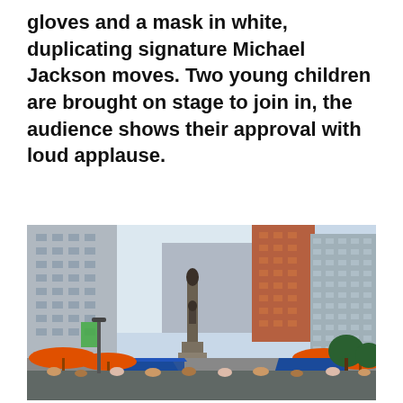gloves and a mask in white, duplicating signature Michael Jackson moves. Two young children are brought on stage to join in, the audience shows their approval with loud applause.
[Figure (photo): Outdoor urban festival scene at a city square. A tall monument/statue stands in the center surrounded by tall office and commercial buildings. Blue event tents and orange umbrellas fill the foreground, with a crowd of people gathered below.]